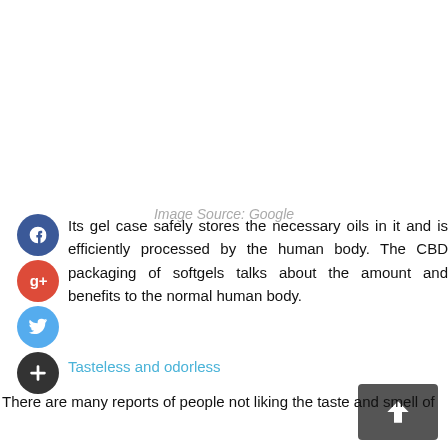[Figure (other): Blank white image placeholder area]
Image Source: Google
Its gel case safely stores the necessary oils in it and is efficiently processed by the human body. The CBD packaging of softgels talks about the amount and benefits to the normal human body.
Tasteless and odorless
There are many reports of people not liking the taste and smell of